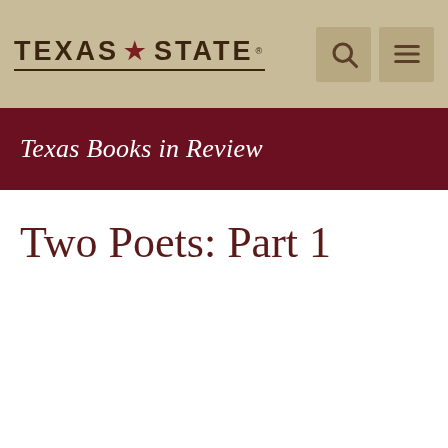TEXAS STATE
Texas Books in Review
Two Poets: Part 1